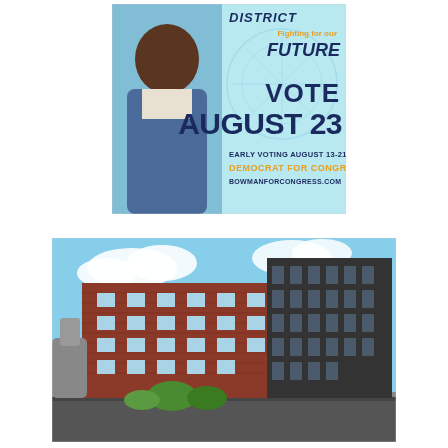[Figure (photo): Campaign poster for Jamaal Bowman for Congress. Shows a smiling man in a blue suit against a light blue background. Text reads: DISTRICT, Fighting for our FUTURE, VOTE AUGUST 23, EARLY VOTING AUGUST 13-21, DEMOCRAT FOR CONGRESS, BOWMANFORCONGRESS.COM]
[Figure (photo): Architectural rendering of a multi-story brick apartment building complex with modern design, blue sky with clouds in background.]